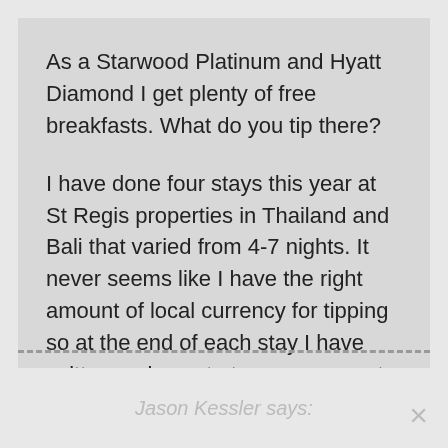As a Starwood Platinum and Hyatt Diamond I get plenty of free breakfasts. What do you tip there?

I have done four stays this year at St Regis properties in Thailand and Bali that varied from 4-7 nights. It never seems like I have the right amount of local currency for tipping so at the end of each stay I have written a nice note to management and included US $100 and asked that it be distributed among the proper service staffs.
Reply
Jason Kessler says: